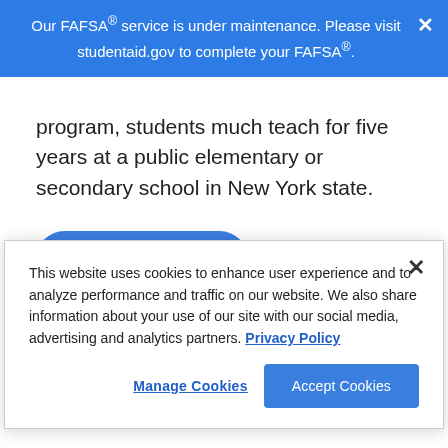Our FAFSA® service is under maintenance. Please visit studentaid.gov to complete your FAFSA®.
program, students much teach for five years at a public elementary or secondary school in New York state.
Apply Today
Senator Patricia K. McGee
This website uses cookies to enhance user experience and to analyze performance and traffic on our website. We also share information about your use of our site with our social media, advertising and analytics partners. Privacy Policy
Manage Cookies
Accept Cookies